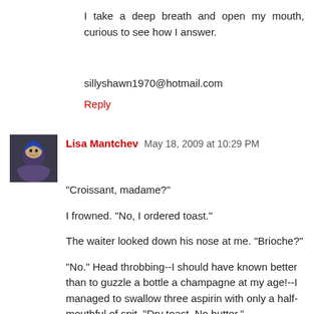I take a deep breath and open my mouth, curious to see how I answer.
sillyshawn1970@hotmail.com
Reply
Lisa Mantchev  May 18, 2009 at 10:29 PM
"Croissant, madame?"

I frowned. "No, I ordered toast."

The waiter looked down his nose at me. "Brioche?"

"No." Head throbbing--I should have known better than to guzzle a bottle a champagne at my age!--I managed to swallow three aspirin with only a half-mouthful of spit. "Dry toast. No butter."

"NO BUTTER?!"